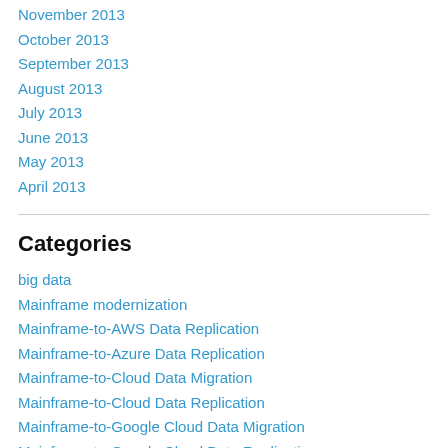November 2013
October 2013
September 2013
August 2013
July 2013
June 2013
May 2013
April 2013
Categories
big data
Mainframe modernization
Mainframe-to-AWS Data Replication
Mainframe-to-Azure Data Replication
Mainframe-to-Cloud Data Migration
Mainframe-to-Cloud Data Replication
Mainframe-to-Google Cloud Data Migration
Mainframe-to-Google Cloud Data Replication